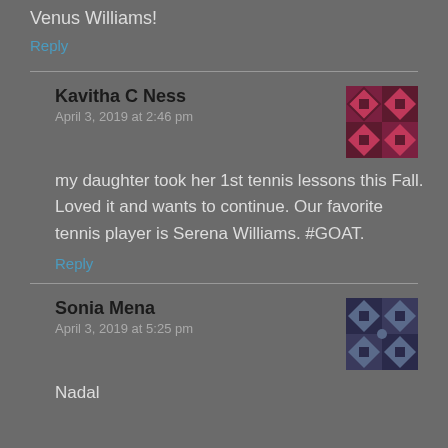Venus Williams!
Reply
Kavitha C Ness
April 3, 2019 at 2:46 pm
my daughter took her 1st tennis lessons this Fall. Loved it and wants to continue. Our favorite tennis player is Serena Williams. #GOAT.
Reply
Sonia Mena
April 3, 2019 at 5:25 pm
Nadal